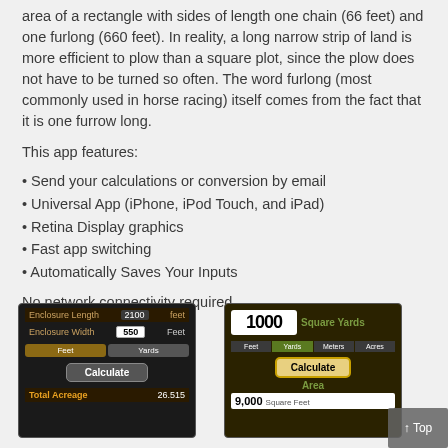area of a rectangle with sides of length one chain (66 feet) and one furlong (660 feet). In reality, a long narrow strip of land is more efficient to plow than a square plot, since the plow does not have to be turned so often. The word furlong (most commonly used in horse racing) itself comes from the fact that it is one furrow long.
This app features:
Send your calculations or conversion by email
Universal App (iPhone, iPod Touch, and iPad)
Retina Display graphics
Fast app switching
Automatically Saves Your Inputs
No network connectivity required.
[Figure (screenshot): Mobile app screenshot showing Enclosure Width 550 Feet, Feet/Yards tabs, Calculate button, Total Acreage 26.515]
[Figure (screenshot): Mobile app screenshot showing 1000 Square Yards, Feet/Yards/Meters/Acres tabs, Calculate Area button, 9,000 Square Feet]